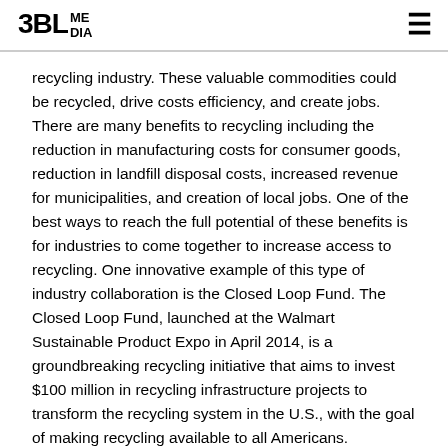3BL MEDIA
recycling industry. These valuable commodities could be recycled, drive costs efficiency, and create jobs. There are many benefits to recycling including the reduction in manufacturing costs for consumer goods, reduction in landfill disposal costs, increased revenue for municipalities, and creation of local jobs. One of the best ways to reach the full potential of these benefits is for industries to come together to increase access to recycling. One innovative example of this type of industry collaboration is the Closed Loop Fund. The Closed Loop Fund, launched at the Walmart Sustainable Product Expo in April 2014, is a groundbreaking recycling initiative that aims to invest $100 million in recycling infrastructure projects to transform the recycling system in the U.S., with the goal of making recycling available to all Americans.
During this one hour webinar, the U.S. Chamber of Commerce Foundation Corporate Citizenship Center will